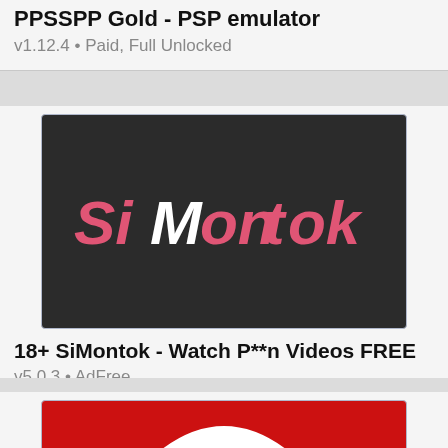PPSSPP Gold - PSP emulator
v1.12.4 • Paid, Full Unlocked
[Figure (screenshot): SiMontok app banner: dark background with 'SiMontok' logo text in pink and white]
18+ SiMontok - Watch P**n Videos FREE
v5.0.3 • AdFree
[Figure (screenshot): Partial view of a red app banner with white swirl/arc logo at the bottom of the page]